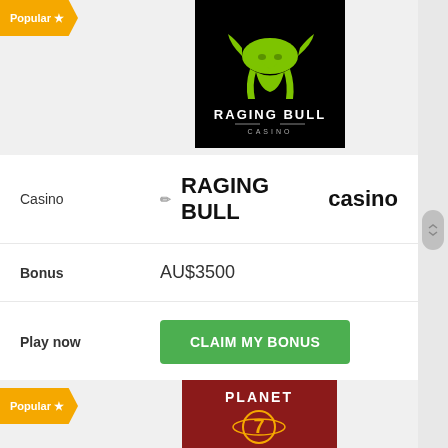[Figure (logo): Raging Bull Casino logo - green bull on black background with text RAGING BULL CASINO]
| Field | Value |
| --- | --- |
| Casino | RAGING BULL casino |
| Bonus | AU$3500 |
| Play now | CLAIM MY BONUS |
[Figure (logo): Planet 7 Casino logo - yellow/orange planet with 7 on dark red background]